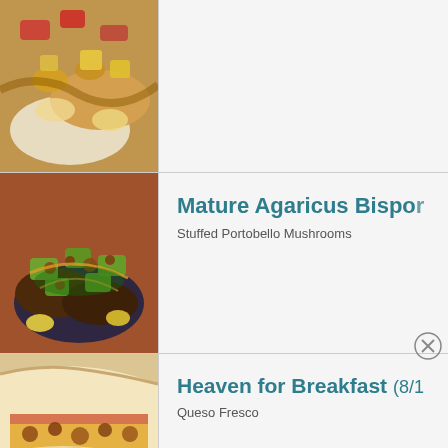[Figure (photo): Top recipe food photo - stir fry with vegetables and rice (partially visible, clipped at top)]
[Figure (photo): Stuffed portobello mushrooms with zucchini and meat filling]
Mature Agaricus Bispor
Stuffed Portobello Mushrooms
[Figure (photo): Breakfast wrap/burrito with eggs, cheese and vegetables]
Heaven for Breakfast (8/1
Queso Fresco
Advertisements
[Figure (other): DuckDuckGo advertisement banner - Search, browse, and email with more privacy. All in One Free App. DuckDuckGo logo on dark background.]